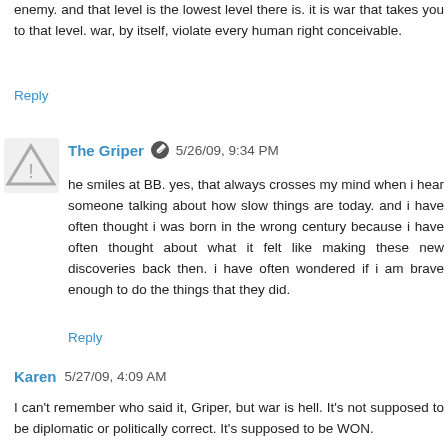enemy. and that level is the lowest level there is. it is war that takes you to that level. war, by itself, violate every human right conceivable.
Reply
The Griper 5/26/09, 9:34 PM
he smiles at BB. yes, that always crosses my mind when i hear someone talking about how slow things are today. and i have often thought i was born in the wrong century because i have often thought about what it felt like making these new discoveries back then. i have often wondered if i am brave enough to do the things that they did.
Reply
Karen 5/27/09, 4:09 AM
I can't remember who said it, Griper, but war is hell. It's not supposed to be diplomatic or politically correct. It's supposed to be WON.